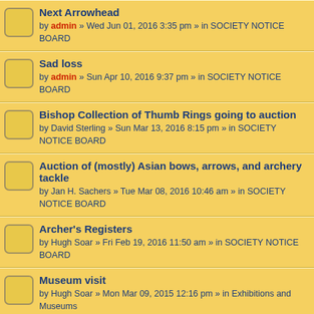Next Arrowhead — by admin » Wed Jun 01, 2016 3:35 pm » in SOCIETY NOTICE BOARD
Sad loss — by admin » Sun Apr 10, 2016 9:37 pm » in SOCIETY NOTICE BOARD
Bishop Collection of Thumb Rings going to auction — by David Sterling » Sun Mar 13, 2016 8:15 pm » in SOCIETY NOTICE BOARD
Auction of (mostly) Asian bows, arrows, and archery tackle — by Jan H. Sachers » Tue Mar 08, 2016 10:46 am » in SOCIETY NOTICE BOARD
Archer's Registers — by Hugh Soar » Fri Feb 19, 2016 11:50 am » in SOCIETY NOTICE BOARD
Museum visit — by Hugh Soar » Mon Mar 09, 2015 12:16 pm » in Exhibitions and Museums
lost member — by admin » Sun Feb 09, 2014 4:12 pm » in SOCIETY NOTICE BOARD
interesting exhibition — by admin » Sun Jul 15, 2012 4:10 pm » in Exhibitions and Museums
Fewer Forum members...